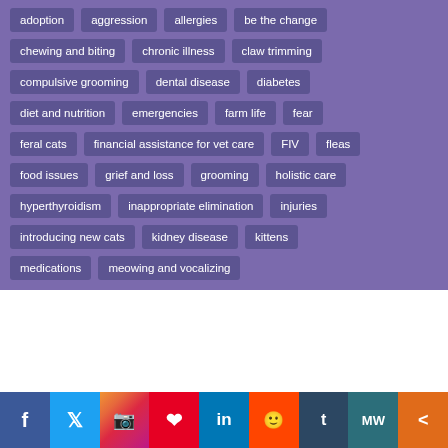adoption
aggression
allergies
be the change
chewing and biting
chronic illness
claw trimming
compulsive grooming
dental disease
diabetes
diet and nutrition
emergencies
farm life
fear
feral cats
financial assistance for vet care
FIV
fleas
food issues
grief and loss
grooming
holistic care
hyperthyroidism
inappropriate elimination
injuries
introducing new cats
kidney disease
kittens
medications
meowing and vocalizing
We use cookies on our website to give you the most relevant experience by remembering your preferences and repeat visits. By clicking “Accept”, you consent to the use of ALL the cookies.
Cookie settings | ACCEPT